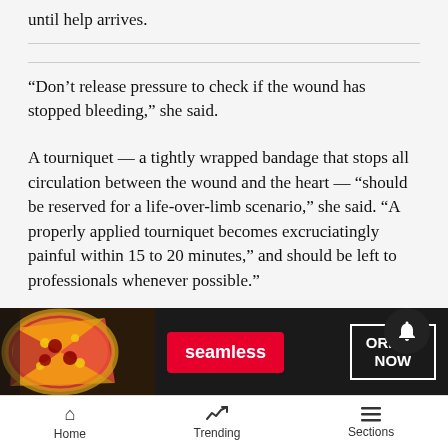until help arrives.
“Don’t release pressure to check if the wound has stopped bleeding,” she said.
A tourniquet — a tightly wrapped bandage that stops all circulation between the wound and the heart — “should be reserved for a life-over-limb scenario,” she said. “A properly applied tourniquet becomes excruciatingly painful within 15 to 20 minutes,” and should be left to professionals whenever possible.”
BROKEN BONES
With b... some... e —
[Figure (screenshot): Seamless food delivery advertisement banner with pizza image on left, red Seamless button in center, and ORDER NOW button on right against dark background]
Home   Trending   Sections